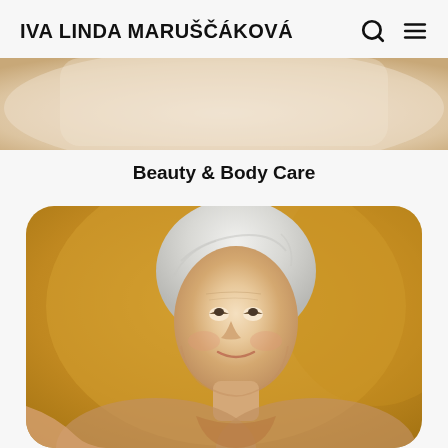IVA LINDA MARUŠČÁKOVÁ
[Figure (photo): Partial view of a photo (cropped at top) showing warm beige/cream tones, likely a previous article image]
Beauty & Body Care
[Figure (photo): Photo of an elderly woman with white hair, smiling and looking upward, against a warm golden/yellow background]